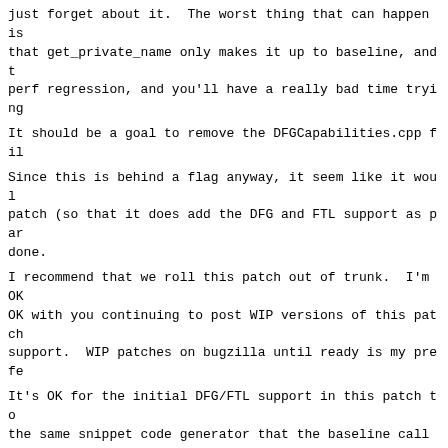just forget about it.  The worst thing that can happen is that get_private_name only makes it up to baseline, and t perf regression, and you'll have a really bad time trying
It should be a goal to remove the DFGCapabilities.cpp fil
Since this is behind a flag anyway, it seem like it woul patch (so that it does add the DFG and FTL support as par done.
I recommend that we roll this patch out of trunk.  I'm OK OK with you continuing to post WIP versions of this patch support.  WIP patches on bugzilla until ready is my prefe
It's OK for the initial DFG/FTL support in this patch to the same snippet code generator that the baseline calls, event.
Yusuke Suzuki    2020-06-15 09:47:11 PDT
*** Bug 183793 has been marked as a duplicate of this bug
Format For Printing  -  XML  -  Clone This Bug  -  Top of page
Home | New | Browse | Search | [Search button] [?] | Reports | Requests | Help | New Account | Log In | Forgot Password